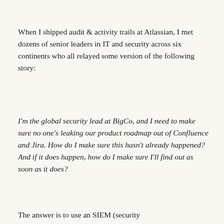When I shipped audit & activity trails at Atlassian, I met dozens of senior leaders in IT and security across six continents who all relayed some version of the following story:
I'm the global security lead at BigCo, and I need to make sure no one's leaking our product roadmap out of Confluence and Jira. How do I make sure this hasn't already happened? And if it does happen, how do I make sure I'll find out as soon as it does?
The answer is to use an SIEM (security